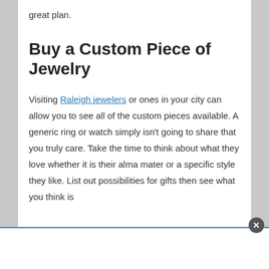great plan.
Buy a Custom Piece of Jewelry
Visiting Raleigh jewelers or ones in your city can allow you to see all of the custom pieces available. A generic ring or watch simply isn't going to share that you truly care. Take the time to think about what they love whether it is their alma mater or a specific style they like. List out possibilities for gifts then see what you think is